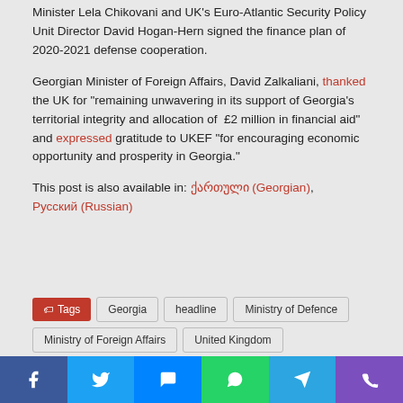Minister Lela Chikovani and UK's Euro-Atlantic Security Policy Unit Director David Hogan-Hern signed the finance plan of 2020-2021 defense cooperation.
Georgian Minister of Foreign Affairs, David Zalkaliani, thanked the UK for "remaining unwavering in its support of Georgia's territorial integrity and allocation of £2 million in financial aid" and expressed gratitude to UKEF "for encouraging economic opportunity and prosperity in Georgia."
This post is also available in: ქართული (Georgian), Русский (Russian)
Tags: Georgia, headline, Ministry of Defence, Ministry of Foreign Affairs, United Kingdom